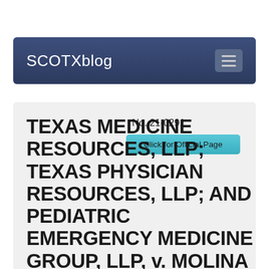SCOTXblog
No. 21-0291
Click for Official Page
TEXAS MEDICINE RESOURCES, LLP; TEXAS PHYSICIAN RESOURCES, LLP; AND PEDIATRIC EMERGENCY MEDICINE GROUP, LLP, v. MOLINA HEALTHCARE OF